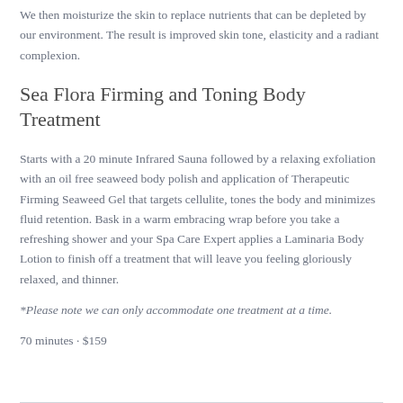We then moisturize the skin to replace nutrients that can be depleted by our environment. The result is improved skin tone, elasticity and a radiant complexion.
Sea Flora Firming and Toning Body Treatment
Starts with a 20 minute Infrared Sauna followed by a relaxing exfoliation with an oil free seaweed body polish and application of Therapeutic Firming Seaweed Gel that targets cellulite, tones the body and minimizes fluid retention. Bask in a warm embracing wrap before you take a refreshing shower and your Spa Care Expert applies a Laminaria Body Lotion to finish off a treatment that will leave you feeling gloriously relaxed, and thinner.
*Please note we can only accommodate one treatment at a time.
70 minutes · $159